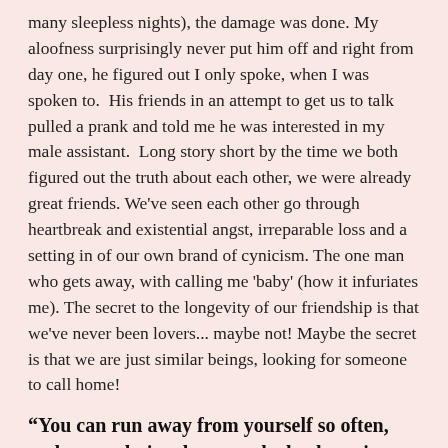many sleepless nights), the damage was done. My aloofness surprisingly never put him off and right from day one, he figured out I only spoke, when I was spoken to.  His friends in an attempt to get us to talk pulled a prank and told me he was interested in my male assistant.  Long story short by the time we both figured out the truth about each other, we were already great friends. We've seen each other go through heartbreak and existential angst, irreparable loss and a setting in of our own brand of cynicism. The one man who gets away, with calling me 'baby' (how it infuriates me). The secret to the longevity of our friendship is that we've never been lovers... maybe not! Maybe the secret is that we are just similar beings, looking for someone to call home!
“You can run away from yourself so often, and so much, just because the broken pieces